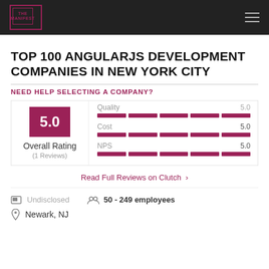THE MANIFEST
TOP 100 ANGULARJS DEVELOPMENT COMPANIES IN NEW YORK CITY
NEED HELP SELECTING A COMPANY?
[Figure (infographic): Rating card showing Overall Rating of 5.0 (1 Reviews) on the left, and metric bars for Quality, Cost (5.0), and NPS (5.0) on the right, each with a full dark red segmented bar.]
Read Full Reviews on Clutch  >
Undisclosed
50 - 249 employees
Newark, NJ